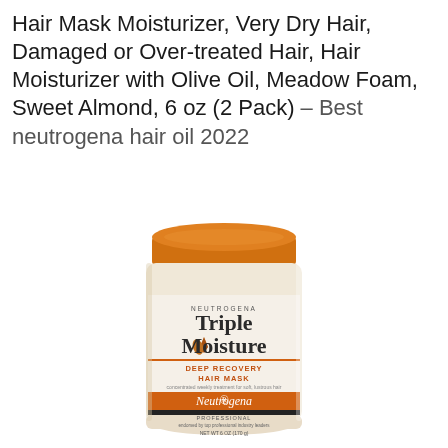Hair Mask Moisturizer, Very Dry Hair, Damaged or Over-treated Hair, Hair Moisturizer with Olive Oil, Meadow Foam, Sweet Almond, 6 oz (2 Pack) – Best neutrogena hair oil 2022
[Figure (photo): Neutrogena Triple Moisture Deep Recovery Hair Mask jar with orange lid, cream-colored body with product label showing Triple Moisture branding, DEEP RECOVERY HAIR MASK text, Neutrogena logo, PROFESSIONAL label, NET WT 6 OZ (170 g)]